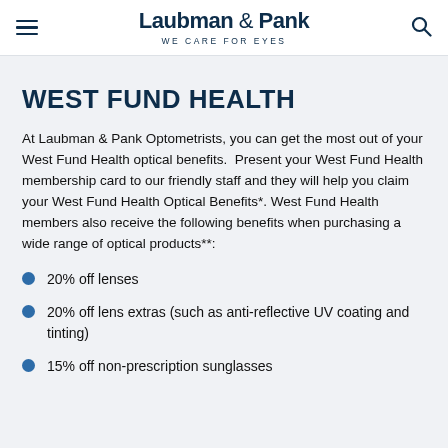Laubman & Pank — WE CARE FOR EYES
WEST FUND HEALTH
At Laubman & Pank Optometrists, you can get the most out of your West Fund Health optical benefits.  Present your West Fund Health membership card to our friendly staff and they will help you claim your West Fund Health Optical Benefits*. West Fund Health members also receive the following benefits when purchasing a wide range of optical products**:
20% off lenses
20% off lens extras (such as anti-reflective UV coating and tinting)
15% off non-prescription sunglasses